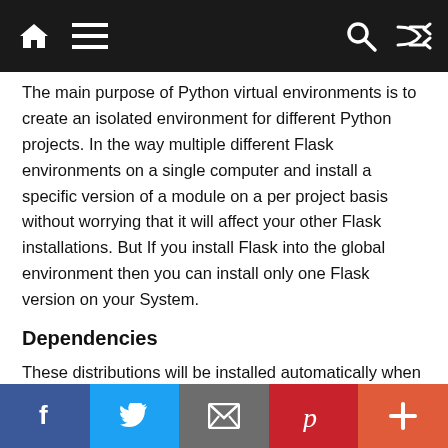[Navigation bar with home, menu, search, and shuffle icons]
The main purpose of Python virtual environments is to create an isolated environment for different Python projects. In the way multiple different Flask environments on a single computer and install a specific version of a module on a per project basis without worrying that it will affect your other Flask installations. But If you install Flask into the global environment then you can install only one Flask version on your System.
Dependencies
These distributions will be installed automatically when installing Flask.
Werkzeug which is a WSGIutilit...
f  [Twitter]  [Email]  p  +